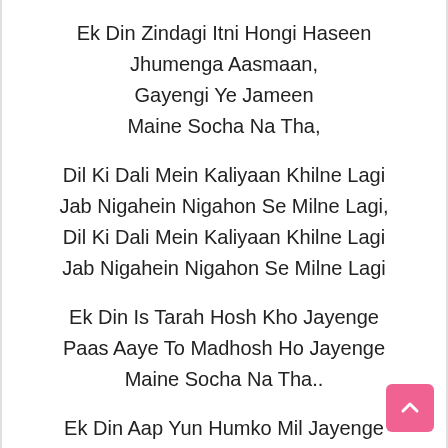Ek Din Zindagi Itni Hongi Haseen
Jhumenga Aasmaan,
Gayengi Ye Jameen
Maine Socha Na Tha,
Dil Ki Dali Mein Kaliyaan Khilne Lagi
Jab Nigahein Nigahon Se Milne Lagi,
Dil Ki Dali Mein Kaliyaan Khilne Lagi
Jab Nigahein Nigahon Se Milne Lagi
Ek Din Is Tarah Hosh Kho Jayenge
Paas Aaye To Madhosh Ho Jayenge
Maine Socha Na Tha..
Ek Din Aap Yun Humko Mil Jayenge